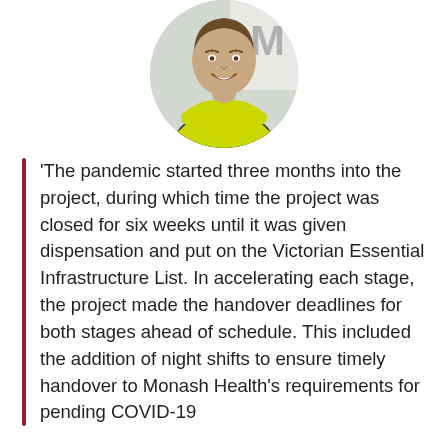[Figure (photo): Circular portrait photo of a man wearing a yellow high-visibility vest over dark clothing, smiling, standing in front of a building with partial letter 'M' visible.]
'The pandemic started three months into the project, during which time the project was closed for six weeks until it was given dispensation and put on the Victorian Essential Infrastructure List. In accelerating each stage, the project made the handover deadlines for both stages ahead of schedule. This included the addition of night shifts to ensure timely handover to Monash Health's requirements for pending COVID-19